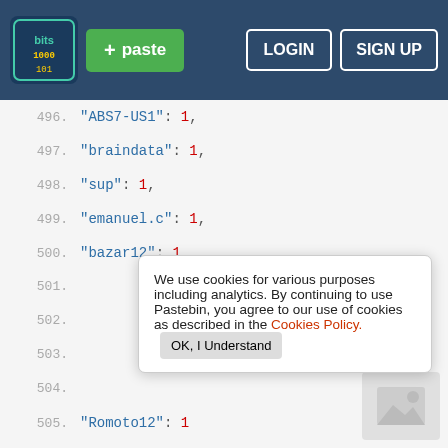[Figure (screenshot): Pastebin website navigation bar with logo, green paste button, LOGIN and SIGN UP buttons on dark blue background]
496.    "ABS7-US1": 1,
497.    "braindata": 1,
498.    "sup": 1,
499.    "emanuel.c": 1,
500.    "bazar12": 1,
We use cookies for various purposes including analytics. By continuing to use Pastebin, you agree to our use of cookies as described in the Cookies Policy.   OK, I Understand
505.    "Romoto12": 1
Not a member of Pastebin yet?
Sign Up, it unlocks many cool features!
508.    "id12kid": 1,
509.    "manderson": 1,
510.    "rancon": 2,
511.    "Alicia": 1,
512.    "Microsoft": 1,